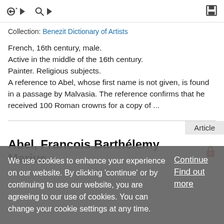Collection: Benezit Dictionary of Artists
French, 16th century, male.
Active in the middle of the 16th century.
Painter. Religious subjects.
A reference to Abel, whose first name is not given, is found in a passage by Malvasia. The reference confirms that he received 100 Roman crowns for a copy of ...
Article
Abel, Francois Barthélemy Marius
We use cookies to enhance your experience on our website. By clicking 'continue' or by continuing to use our website, you are agreeing to our use of cookies. You can change your cookie settings at any time.